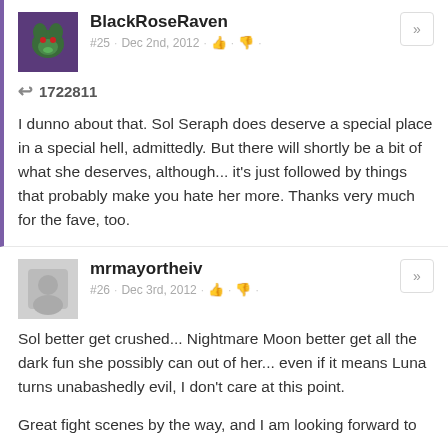BlackRoseRaven
#25 · Dec 2nd, 2012
1722811
I dunno about that. Sol Seraph does deserve a special place in a special hell, admittedly. But there will shortly be a bit of what she deserves, although... it's just followed by things that probably make you hate her more. Thanks very much for the fave, too.
mrmayortheiv
#26 · Dec 3rd, 2012
Sol better get crushed... Nightmare Moon better get all the dark fun she possibly can out of her... even if it means Luna turns unabashedly evil, I don't care at this point.
Great fight scenes by the way, and I am looking forward to